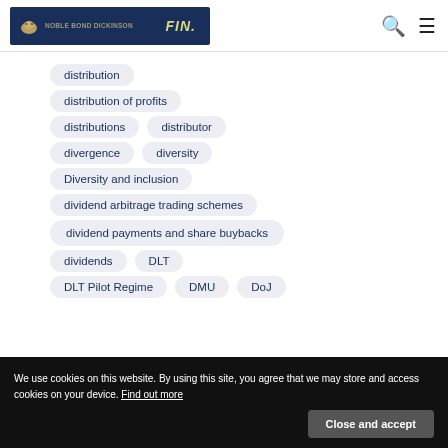NOBLE BOND DICKINSON | FIN.
distribution
distribution of profits
distributions
distributor
divergence
diversity
Diversity and inclusion
dividend arbitrage trading schemes
dividend payments and share buybacks
dividends
DLT
DLT Pilot Regime
DMU
DoJ
We use cookies on this website. By using this site, you agree that we may store and access cookies on your device. Find out more
Close and accept
Dormant Assets Act 2022